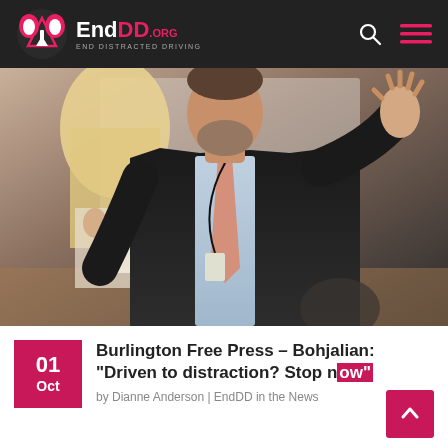EndDD.org – End Distracted Driving
[Figure (photo): A man in a dark suit with a pink tie gesturing with one hand raised, standing at a podium or presentation area. A woman with blonde hair is visible to his left. Both appear to be at a conference or speaking event.]
Burlington Free Press – Bohjalian: "Driven to distraction? Stop now"
by Dianne Anderson | EndDD in the News